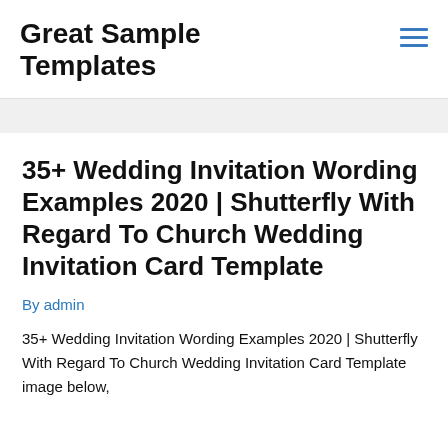Great Sample Templates
35+ Wedding Invitation Wording Examples 2020 | Shutterfly With Regard To Church Wedding Invitation Card Template
By admin
35+ Wedding Invitation Wording Examples 2020 | Shutterfly With Regard To Church Wedding Invitation Card Template image below,